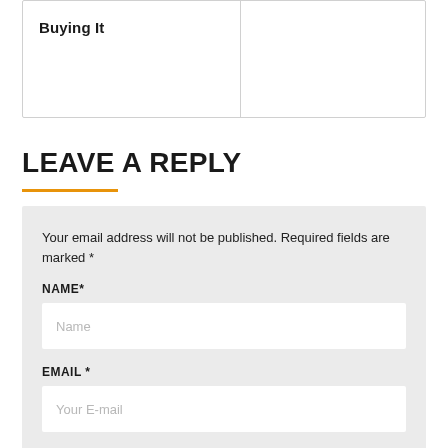Buying It
LEAVE A REPLY
Your email address will not be published. Required fields are marked *
NAME*
Name
EMAIL *
Your E-mail